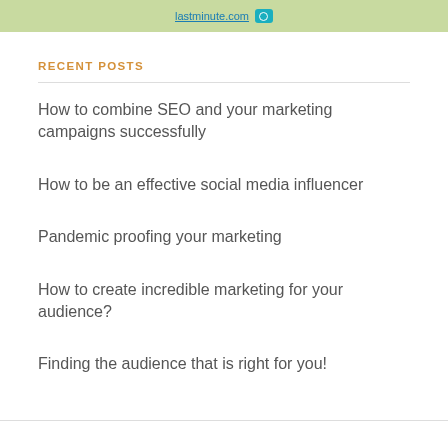[Figure (screenshot): Partial map screenshot showing lastminute.com label and a camera icon, on a green map background]
RECENT POSTS
How to combine SEO and your marketing campaigns successfully
How to be an effective social media influencer
Pandemic proofing your marketing
How to create incredible marketing for your audience?
Finding the audience that is right for you!
Copyright © 2022 Shruti Deshpande.co.uk. All Rights Reserved. Fashify Theme by FRT